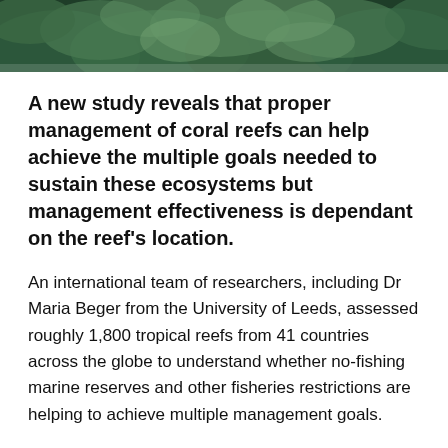[Figure (photo): Aerial or underwater photograph of coral reef ecosystem showing dense green and teal coral formations]
A new study reveals that proper management of coral reefs can help achieve the multiple goals needed to sustain these ecosystems but management effectiveness is dependant on the reef’s location.
An international team of researchers, including Dr Maria Beger from the University of Leeds, assessed roughly 1,800 tropical reefs from 41 countries across the globe to understand whether no-fishing marine reserves and other fisheries restrictions are helping to achieve multiple management goals.